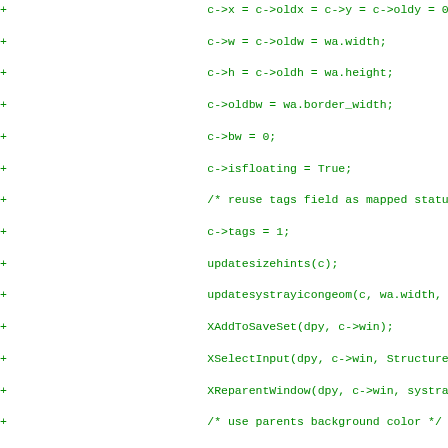[Figure (screenshot): A code diff view showing added (green +) and removed (red -) lines of C source code for a window manager, including assignments, function calls, and control flow.]